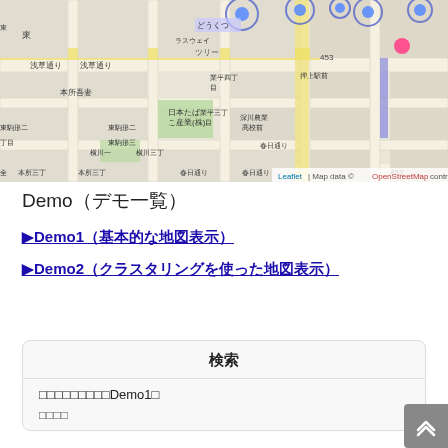[Figure (map): OpenStreetMap of Sumida/Asakusa area in Tokyo, Japan. Shows street grid with Japanese labels, blue circle markers for locations, a pink/red marker, yellow highlighted roads, blue highlighted road segments. Attribution: Leaflet | Map data © OpenStreetMap contributors]
Demo（デモ一覧）
▶Demo1（基本的な地図表示）
▶Demo2（クラスタリングを使った地図表示）
| 検索 |
| --- |
| □□□□□□□□□Demo1□ |
| □□□□ |
[Figure (screenshot): Scroll-to-top button with double chevron up arrow on grey background]